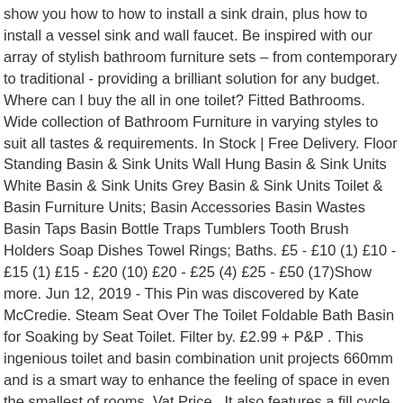show you how to how to install a sink drain, plus how to install a vessel sink and wall faucet. Be inspired with our array of stylish bathroom furniture sets – from contemporary to traditional - providing a brilliant solution for any budget. Where can I buy the all in one toilet? Fitted Bathrooms. Wide collection of Bathroom Furniture in varying styles to suit all tastes & requirements. In Stock | Free Delivery. Floor Standing Basin & Sink Units Wall Hung Basin & Sink Units White Basin & Sink Units Grey Basin & Sink Units Toilet & Basin Furniture Units; Basin Accessories Basin Wastes Basin Taps Basin Bottle Traps Tumblers Tooth Brush Holders Soap Dishes Towel Rings; Baths. £5 - £10 (1) £10 - £15 (1) £15 - £20 (10) £20 - £25 (4) £25 - £50 (17)Show more. Jun 12, 2019 - This Pin was discovered by Kate McCredie. Steam Seat Over The Toilet Foldable Bath Basin for Soaking by Seat Toilet. Filter by. £2.99 + P&P . This ingenious toilet and basin combination unit projects 660mm and is a smart way to enhance the feeling of space in even the smallest of rooms. Vat Price . It also features a fill cycle diverter that improves tank filling efficiency in most toilets. We stock a wide range of diameters from leading brands to fit most standard sinks. £2.99 + P&P . Whether you're working with a large or small bathroom, our mirrored cabinets, shelving options, and toilet roll storage boxes offer something for everyone – no